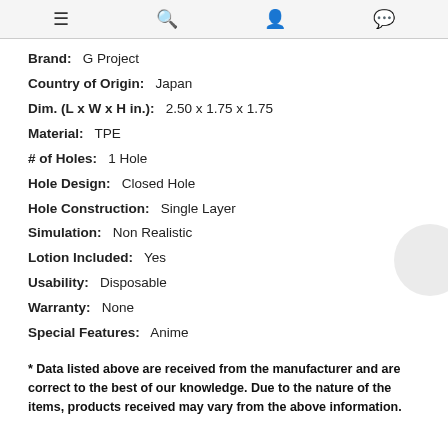≡  🔍  👤  💬
Brand:  G Project
Country of Origin:  Japan
Dim. (L x W x H in.):  2.50 x 1.75 x 1.75
Material:  TPE
# of Holes:  1 Hole
Hole Design:  Closed Hole
Hole Construction:  Single Layer
Simulation:  Non Realistic
Lotion Included:  Yes
Usability:  Disposable
Warranty:  None
Special Features:  Anime
* Data listed above are received from the manufacturer and are correct to the best of our knowledge. Due to the nature of the items, products received may vary from the above information.